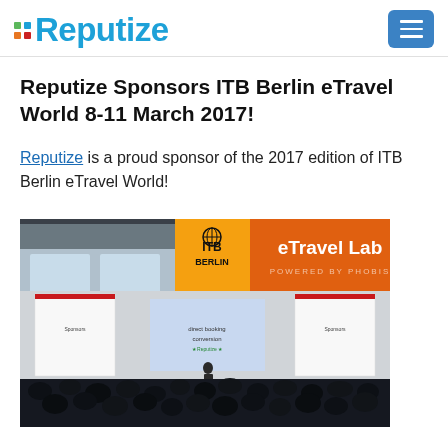Reputize
Reputize Sponsors ITB Berlin eTravel World 8-11 March 2017!
Reputize is a proud sponsor of the 2017 edition of ITB Berlin eTravel World!
[Figure (photo): Conference hall photo showing ITB Berlin eTravel Lab signage with audience seated in front of a stage with a presentation screen and sponsor boards]